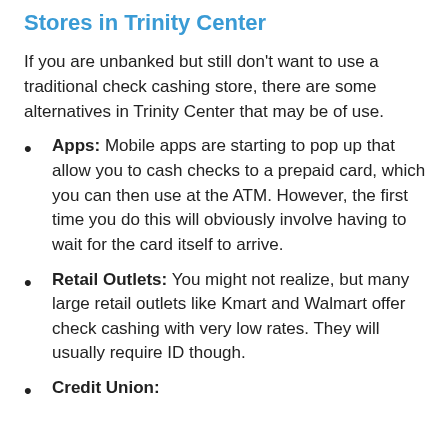Stores in Trinity Center
If you are unbanked but still don't want to use a traditional check cashing store, there are some alternatives in Trinity Center that may be of use.
Apps: Mobile apps are starting to pop up that allow you to cash checks to a prepaid card, which you can then use at the ATM. However, the first time you do this will obviously involve having to wait for the card itself to arrive.
Retail Outlets: You might not realize, but many large retail outlets like Kmart and Walmart offer check cashing with very low rates. They will usually require ID though.
Credit Union:...